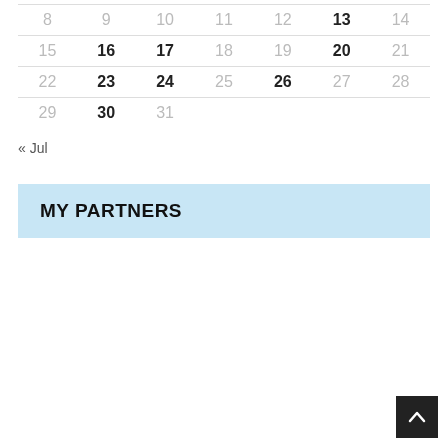| 8 | 9 | 10 | 11 | 12 | 13 | 14 |
| 15 | 16 | 17 | 18 | 19 | 20 | 21 |
| 22 | 23 | 24 | 25 | 26 | 27 | 28 |
| 29 | 30 | 31 |  |  |  |  |
« Jul
MY PARTNERS